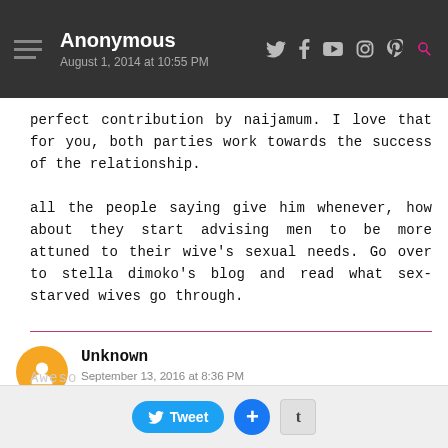Anonymous — August 1, 2014 at 10:55 PM
perfect contribution by naijamum. I love that for you, both parties work towards the success of the relationship. all the people saying give him whenever, how about they start advising men to be more attuned to their wive's sexual needs. Go over to stella dimoko's blog and read what sex-starved wives go through.
Unknown — September 13, 2016 at 8:36 PM